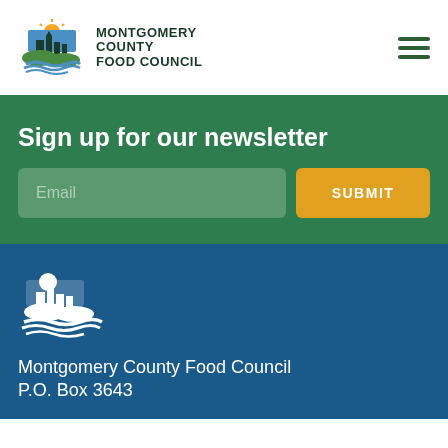[Figure (logo): Montgomery County Food Council logo with colorful icon of buildings/landscape and text]
[Figure (illustration): Hamburger menu icon (three horizontal lines) in dark green]
Sign up for our newsletter
[Figure (illustration): Email input field with placeholder text 'Email' and a yellow Submit button]
[Figure (logo): White version of Montgomery County Food Council logo icon]
Montgomery County Food Council
P.O. Box 3643